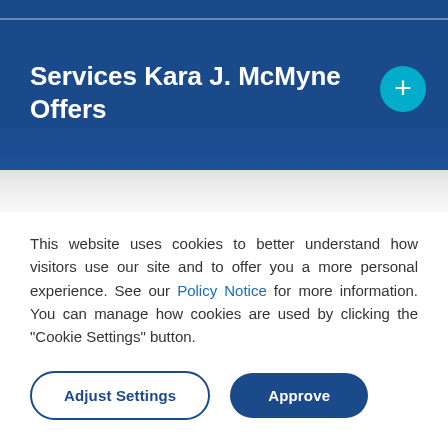Services Kara J. McMyne Offers
This website uses cookies to better understand how visitors use our site and to offer you a more personal experience. See our Policy Notice for more information. You can manage how cookies are used by clicking the “Cookie Settings” button.
Adjust Settings | Approve